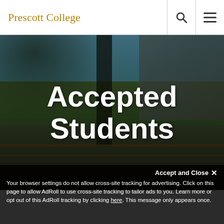Prescott College
[Figure (photo): Outdoor campus photo showing trees, sky, and a wooden pergola/fence structure at Prescott College, with a dark overlay]
Accepted Students
Accept and Close ✕
Your browser settings do not allow cross-site tracking for advertising. Click on this page to allow AdRoll to use cross-site tracking to tailor ads to you. Learn more or opt out of this AdRoll tracking by clicking here. This message only appears once.